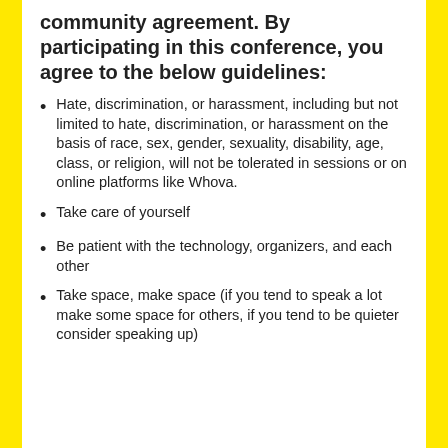community agreement. By participating in this conference, you agree to the below guidelines:
Hate, discrimination, or harassment, including but not limited to hate, discrimination, or harassment on the basis of race, sex, gender, sexuality, disability, age, class, or religion, will not be tolerated in sessions or on online platforms like Whova.
Take care of yourself
Be patient with the technology, organizers, and each other
Take space, make space (if you tend to speak a lot make some space for others, if you tend to be quieter consider speaking up)